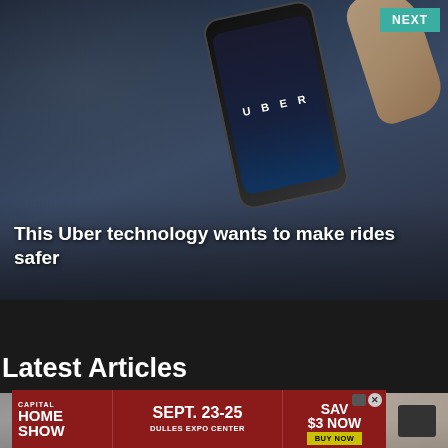[Figure (photo): Hero image showing a hand holding a smartphone with the Uber logo on its screen, dark blue/grey tones]
This Uber technology wants to make rides safer
NEXT
Latest Articles
[Figure (photo): Partial image of a person with head down, grey toned photo]
No compatible source was found for this
[Figure (other): Advertisement banner: Capital Home Show, Sept. 23-25, Dulles Expo Center, Save $3 Now, Buy Now]